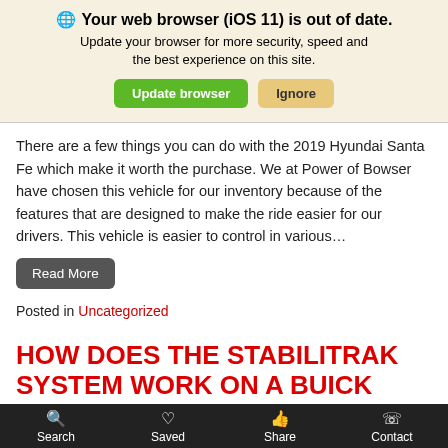🌐 Your web browser (iOS 11) is out of date. Update your browser for more security, speed and the best experience on this site.
There are a few things you can do with the 2019 Hyundai Santa Fe which make it worth the purchase. We at Power of Bowser have chosen this vehicle for our inventory because of the features that are designed to make the ride easier for our drivers. This vehicle is easier to control in various…
Read More
Posted in Uncategorized
HOW DOES THE STABILITRAK SYSTEM WORK ON A BUICK CASCADA?
Search | Saved | Share | Contact